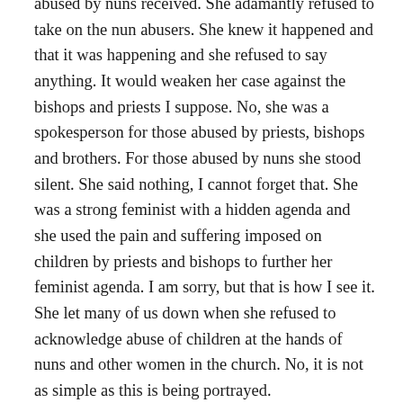abused by nuns received. She adamantly refused to take on the nun abusers. She knew it happened and that it was happening and she refused to say anything. It would weaken her case against the bishops and priests I suppose. No, she was a spokesperson for those abused by priests, bishops and brothers. For those abused by nuns she stood silent. She said nothing, I cannot forget that. She was a strong feminist with a hidden agenda and she used the pain and suffering imposed on children by priests and bishops to further her feminist agenda. I am sorry, but that is how I see it. She let many of us down when she refused to acknowledge abuse of children at the hands of nuns and other women in the church. No, it is not as simple as this is being portrayed.